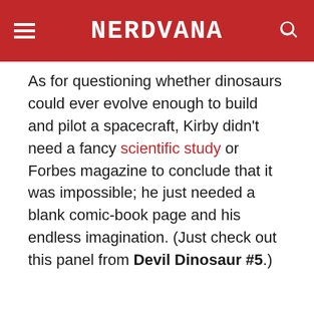NERDVANA
As for questioning whether dinosaurs could ever evolve enough to build and pilot a spacecraft, Kirby didn't need a fancy scientific study or Forbes magazine to conclude that it was impossible; he just needed a blank comic-book page and his endless imagination. (Just check out this panel from Devil Dinosaur #5.)